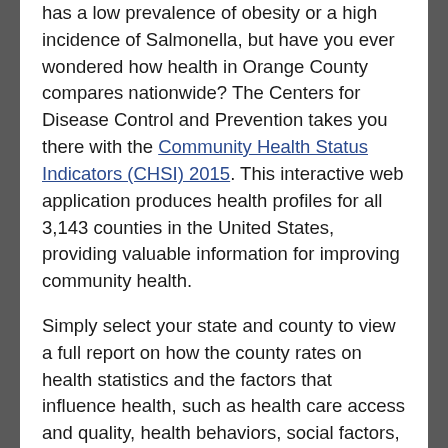has a low prevalence of obesity or a high incidence of Salmonella, but have you ever wondered how health in Orange County compares nationwide? The Centers for Disease Control and Prevention takes you there with the Community Health Status Indicators (CHSI) 2015. This interactive web application produces health profiles for all 3,143 counties in the United States, providing valuable information for improving community health.
Simply select your state and county to view a full report on how the county rates on health statistics and the factors that influence health, such as health care access and quality, health behaviors, social factors, and the physical environment.
Peer Counties